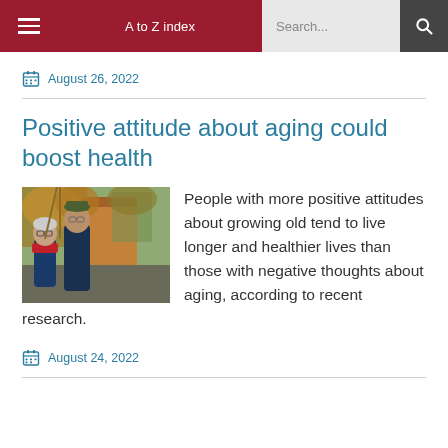A to Z index | Search...
August 26, 2022
Positive attitude about aging could boost health
[Figure (photo): Elderly couple outdoors in autumn, man wearing green hat and dark coat, woman wearing red scarf and glasses]
People with more positive attitudes about growing old tend to live longer and healthier lives than those with negative thoughts about aging, according to recent research.
August 24, 2022